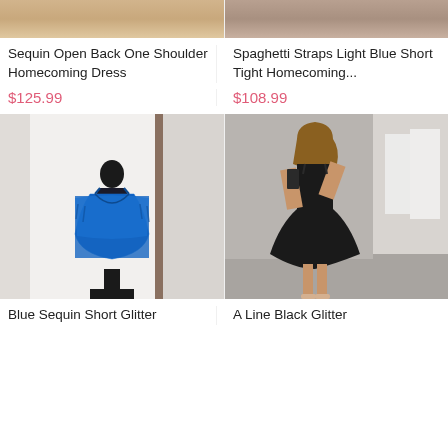[Figure (photo): Top cropped product photo of a homecoming dress (left column)]
[Figure (photo): Top cropped product photo of a blue homecoming dress (right column)]
Sequin Open Back One Shoulder Homecoming Dress
$125.99
Spaghetti Straps Light Blue Short Tight Homecoming...
$108.99
[Figure (photo): Blue sequin short glitter homecoming dress on mannequin]
[Figure (photo): A line black glitter dress on woman taking mirror selfie]
Blue Sequin Short Glitter
A Line Black Glitter